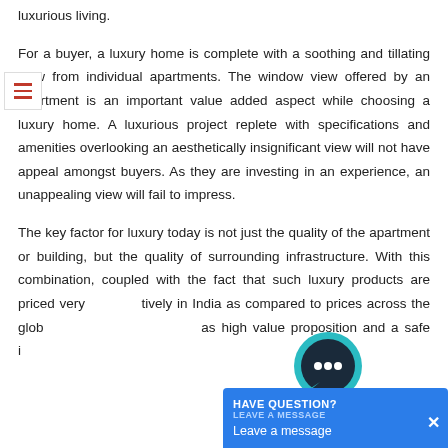luxurious living.
For a buyer, a luxury home is complete with a soothing and tillating view from individual apartments. The window view offered by an apartment is an important value added aspect while choosing a luxury home. A luxurious project replete with specifications and amenities overlooking an aesthetically insignificant view will not have appeal amongst buyers. As they are investing in an experience, an unappealing view will fail to impress.
The key factor for luxury today is not just the quality of the apartment or building, but the quality of surrounding infrastructure. With this combination, coupled with the fact that such luxury products are priced very competitively in India as compared to prices across the globe, it presents a high value proposition and a safe in...
[Figure (other): Chat widget overlay with speech bubble icon and 'HAVE QUESTION? LEAVE A MESSAGE / Leave a message x' chat box in the bottom right corner]